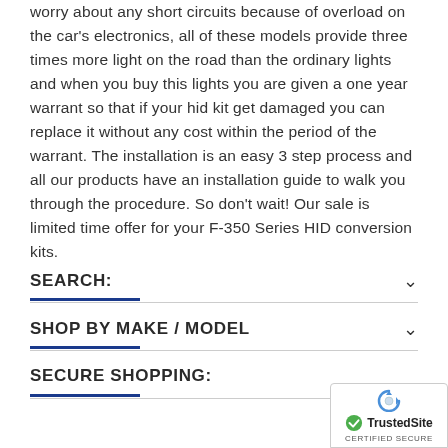worry about any short circuits because of overload on the car's electronics, all of these models provide three times more light on the road than the ordinary lights and when you buy this lights you are given a one year warrant so that if your hid kit get damaged you can replace it without any cost within the period of the warrant. The installation is an easy 3 step process and all our products have an installation guide to walk you through the procedure. So don't wait! Our sale is limited time offer for your F-350 Series HID conversion kits.
SEARCH:
SHOP BY MAKE / MODEL
SECURE SHOPPING:
[Figure (logo): TrustedSite CERTIFIED SECURE logo with blue checkmark and reCAPTCHA-style icon]